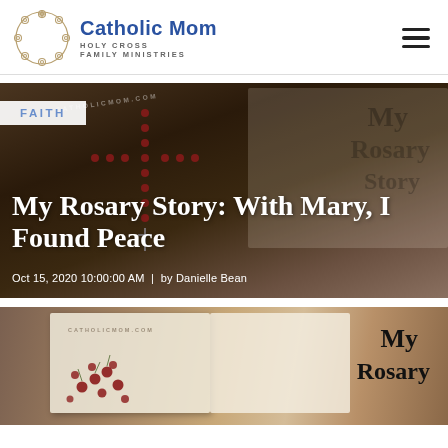Catholic Mom — Holy Cross Family Ministries
[Figure (screenshot): Hero image of a rosary book on wooden surface with red rosary beads arranged in cross shape, overlaid with article title]
FAITH
My Rosary Story: With Mary, I Found Peace
Oct 15, 2020 10:00:00 AM  |  by Danielle Bean
[Figure (photo): Close-up photo of rosary book titled 'My Rosary Story' with red berries/beads, on wooden surface, with CATHOLICMOM.COM watermark]